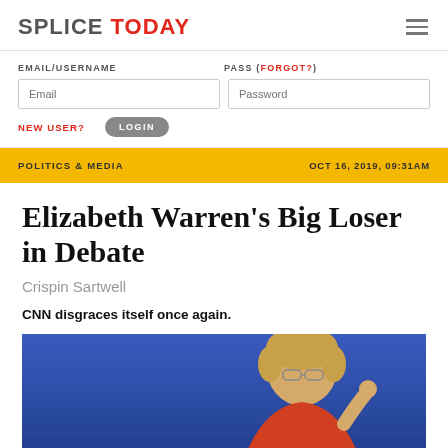SPLICE TODAY
EMAIL/USERNAME | PASS (FORGOT?) | NEW USER? | LOGIN
POLITICS & MEDIA | OCT 16, 2019, 09:31AM
Elizabeth Warren's Big Loser in Debate
Crispin Sartwell
CNN disgraces itself once again.
[Figure (photo): Photo of Elizabeth Warren at a debate, blue background, woman with glasses and blonde hair, cropped at shoulders, pointing gesture]